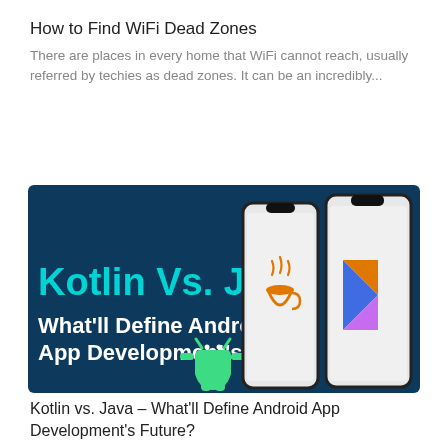How to Find WiFi Dead Zones
There are places in every home that WiFi cannot reach, usually referred by techies as dead zones. It can be an incredibly...
[Figure (illustration): Thumbnail image with dark blue background showing text 'Kotlin Vs. Java' in cyan and 'What'll Define Android App Development's' in white, with Android mascot, Java logo, and Kotlin logo on smartphone mockups. View count badge '78K' in top right corner.]
Kotlin vs. Java – What'll Define Android App Development's Future?
Do you know how often you check your mobile phone daily? A Journal of Accountancy research says 86 times! No wonder, we...